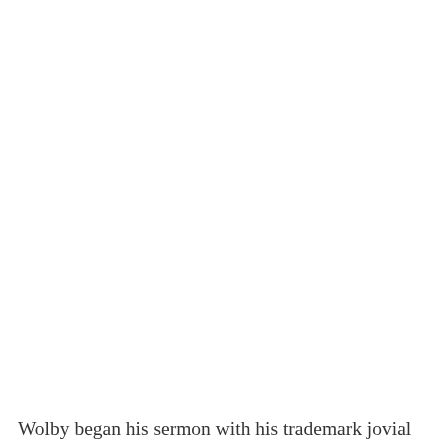Wolby began his sermon with his trademark jovial